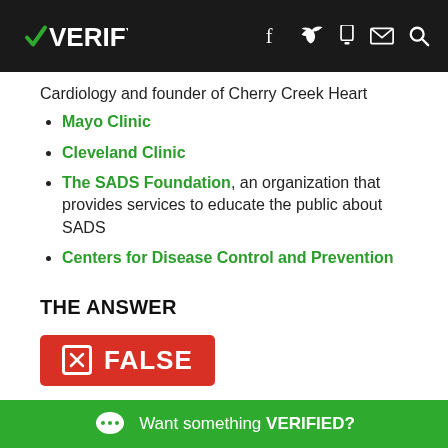VERIFY
Cardiology and founder of Cherry Creek Heart
Mayo Clinic
Cleveland Clinic
The SADS Foundation, an organization that provides services to educate the public about SADS
Centers for Disease Control and Prevention
THE ANSWER
[Figure (infographic): Red badge with X icon and the word FALSE in white text]
No, Sudden Adult Death Syndrome, also known as Sudden
Want something VERIFIED?